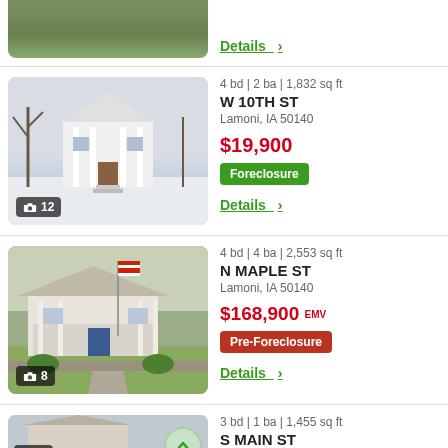[Figure (photo): Top partial: house with trees, grassy yard - bottom portion visible]
Details >
[Figure (photo): White colonial-style house with snow on ground, bare trees, 12 photos]
4 bd | 2 ba | 1,832 sq ft
W 10TH ST
Lamoni, IA 50140
$19,900
Foreclosure
Details >
[Figure (photo): Craftsman-style house with American flag, front porch, 8 photos]
4 bd | 4 ba | 2,553 sq ft
N MAPLE ST
Lamoni, IA 50140
$168,900 EMV
Pre-Foreclosure
Details >
[Figure (photo): Bottom partial listing photo, 6 photos]
3 bd | 1 ba | 1,455 sq ft
S MAIN ST